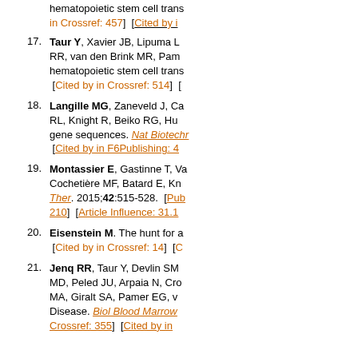hematopoietic stem cell trans... [Cited by in Crossref: 457] [Cited by in...
17. Taur Y, Xavier JB, Lipuma D... RR, van den Brink MR, Pame... hematopoietic stem cell trans... [Cited by in Crossref: 514] [
18. Langille MG, Zaneveld J, Ca... RL, Knight R, Beiko RG, Hu... gene sequences. Nat Biotechr... [Cited by in F6Publishing: 4...
19. Montassier E, Gastinne T, Va... Cochetière MF, Batard E, Kn... Ther. 2015;42:515-528. [Pub... 210] [Article Influence: 31.1...
20. Eisenstein M. The hunt for a... [Cited by in Crossref: 14] [C...
21. Jenq RR, Taur Y, Devlin SM... MD, Peled JU, Arpaia N, Cro... MA, Giralt SA, Pamer EG, v... Disease. Biol Blood Marrow... Crossref: 355] [Cited by in...